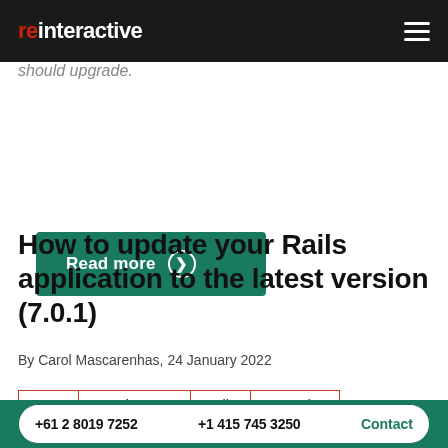reinteractive
should upgrade.
Read more →
How to update your Rails application to the latest version (7.0.1)
By Carol Mascarenhas, 24 January 2022
2022
Development
Rails
Upgrades
+61 2 8019 7252   +1 415 745 3250   Contact